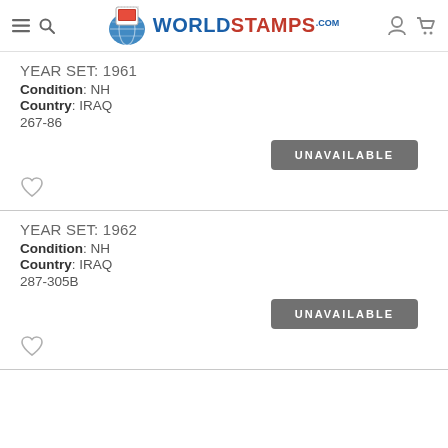WorldStamps.com
YEAR SET: 1961
Condition: NH
Country: IRAQ
267-86
UNAVAILABLE
YEAR SET: 1962
Condition: NH
Country: IRAQ
287-305B
UNAVAILABLE